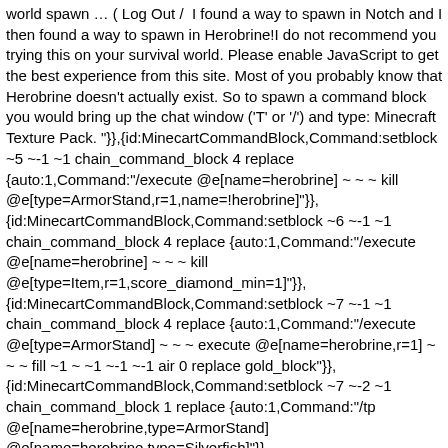world spawn … ( Log Out /  I found a way to spawn in Notch and I then found a way to spawn in Herobrine!I do not recommend you trying this on your survival world. Please enable JavaScript to get the best experience from this site. Most of you probably know that Herobrine doesn't actually exist. So to spawn a command block you would bring up the chat window ('T' or '/') and type: Minecraft Texture Pack. "}},{id:MinecartCommandBlock,Command:setblock ~5 ~-1 ~1 chain_command_block 4 replace {auto:1,Command:"/execute @e[name=herobrine] ~ ~ ~ kill @e[type=ArmorStand,r=1,name=!herobrine]"}}, {id:MinecartCommandBlock,Command:setblock ~6 ~-1 ~1 chain_command_block 4 replace {auto:1,Command:"/execute @e[name=herobrine] ~ ~ ~ kill @e[type=Item,r=1,score_diamond_min=1]"}}, {id:MinecartCommandBlock,Command:setblock ~7 ~-1 ~1 chain_command_block 4 replace {auto:1,Command:"/execute @e[type=ArmorStand] ~ ~ ~ execute @e[name=herobrine,r=1] ~ ~ ~ fill ~1 ~ ~1 ~-1 ~-1 air 0 replace gold_block"}}, {id:MinecartCommandBlock,Command:setblock ~7 ~-2 ~1 chain_command_block 1 replace {auto:1,Command:"/tp @e[name=herobrine,type=ArmorStand] @e[name=herobrine,type=Silverfish]"}}